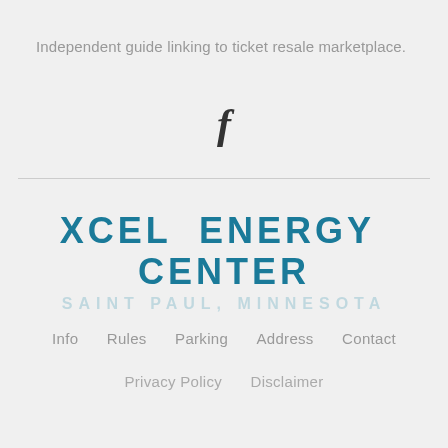Independent guide linking to ticket resale marketplace.
[Figure (illustration): Facebook 'f' logo icon in dark color]
[Figure (logo): Xcel Energy Center logo with text 'XCEL ENERGY CENTER' in teal/blue bold uppercase letters and 'SAINT PAUL, MINNESOTA' in lighter teal below]
Info    Rules    Parking    Address    Contact
Privacy Policy    Disclaimer